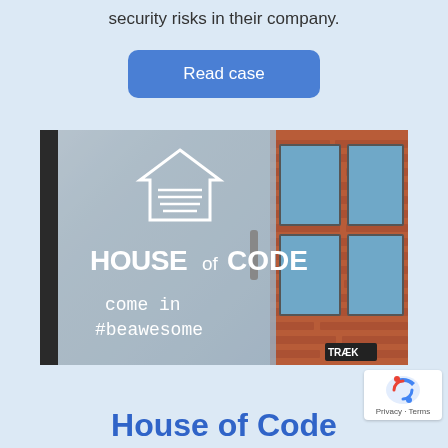security risks in their company.
Read case
[Figure (photo): Photo of House of Code office entrance with glass door showing 'HOUSE of CODE' logo and text 'come in #beawesome', with a brick building visible in the background and a door handle labeled TRÆK]
House of Code